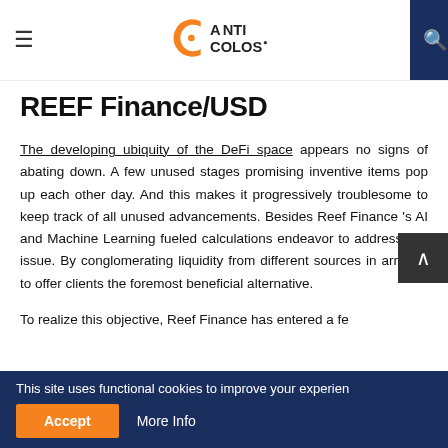ANTI COLOS (logo) — navigation header with hamburger menu and search
REEF Finance/USD
The developing ubiquity of the DeFi space appears no signs of abating down. A few unused stages promising inventive items pop up each other day. And this makes it progressively troublesome to keep track of all unused advancements. Besides Reef Finance 's AI and Machine Learning fueled calculations endeavor to address this issue. By conglomerating liquidity from different sources in arrange to offer clients the foremost beneficial alternative.
To realize this objective, Reef Finance has entered a fe…
This site uses functional cookies to improve your experien — Accept | More Info